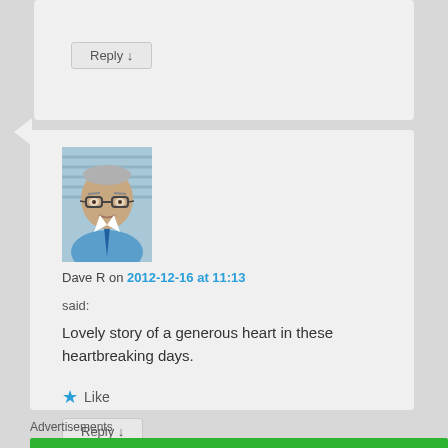Reply ↓
[Figure (photo): Profile photo of Dave R, an older man with glasses wearing a blue shirt and tie]
Dave R on 2012-12-16 at 11:13
said:
Lovely story of a generous heart in these heartbreaking days.
★ Like
Reply ↓
Advertisements
[Figure (logo): Jetpack advertisement banner with green background, Jetpack logo and 'Secure Your Site' button]